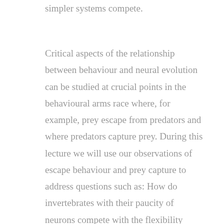simpler systems compete.
Critical aspects of the relationship between behaviour and neural evolution can be studied at crucial points in the behavioural arms race where, for example, prey escape from predators and where predators capture prey. During this lecture we will use our observations of escape behaviour and prey capture to address questions such as: How do invertebrates with their paucity of neurons compete with the flexibility conferred by the larger computational power of the vertebrates? Can we detect patterns in the